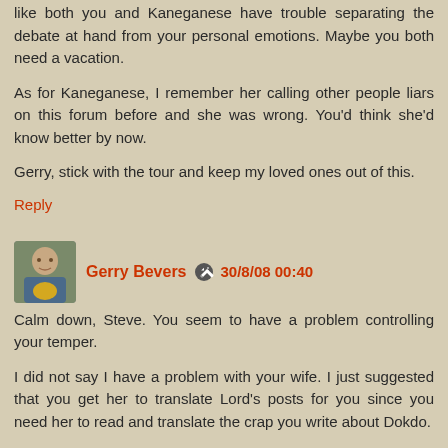You seem to harp on about her a lot these days. It seems like both you and Kaneganese have trouble separating the debate at hand from your personal emotions. Maybe you both need a vacation.
As for Kaneganese, I remember her calling other people liars on this forum before and she was wrong. You'd think she'd know better by now.
Gerry, stick with the tour and keep my loved ones out of this.
Reply
Gerry Bevers  30/8/08 00:40
Calm down, Steve. You seem to have a problem controlling your temper.
I did not say I have a problem with your wife. I just suggested that you get her to translate Lord's posts for you since you need her to read and translate the crap you write about Dokdo.